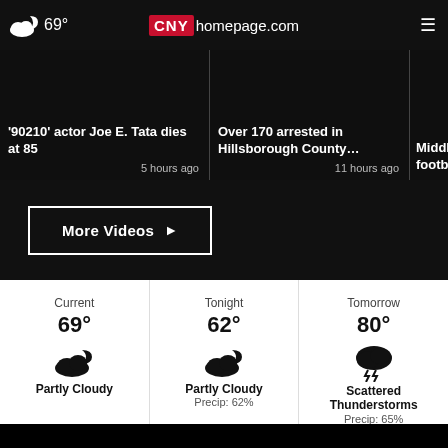69° CNYhomepage.com
'90210' actor Joe E. Tata dies at 85 — 5 hours ago
Over 170 arrested in Hillsborough County… — 11 hours ago
Middle footba…
More Videos ▶
Current 69° Partly Cloudy
Tonight 62° Partly Cloudy Precip: 62%
Tomorrow 80° Scattered Thunderstorms Precip: 65%